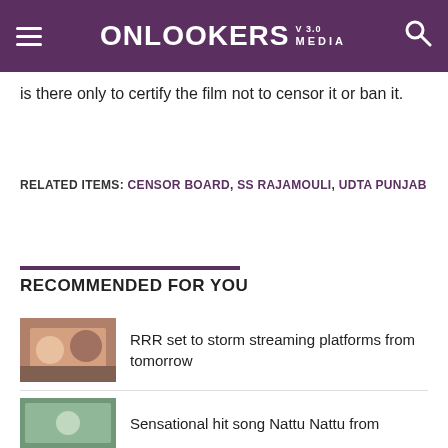ONLOOKERS MEDIA V 3.0
is there only to certify the film not to censor it or ban it.
RELATED ITEMS: CENSOR BOARD, SS RAJAMOULI, UDTA PUNJAB
RECOMMENDED FOR YOU
RRR set to storm streaming platforms from tomorrow
Sensational hit song Nattu Nattu from